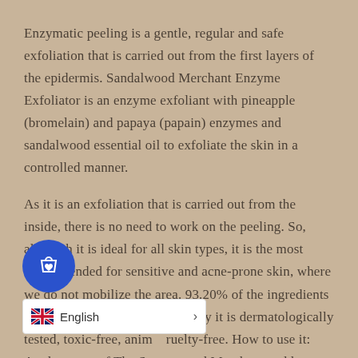Enzymatic peeling is a gentle, regular and safe exfoliation that is carried out from the first layers of the epidermis. Sandalwood Merchant Enzyme Exfoliator is an enzyme exfoliant with pineapple (bromelain) and papaya (papain) enzymes and sandalwood essential oil to exfoliate the skin in a controlled manner.
As it is an exfoliation that is carried out from the inside, there is no need to work on the peeling. So, although it is ideal for all skin types, it is the most recommended for sensitive and acne-prone skin, where we do not mobilize the area. 93.20% of the ingredients are of natural origin. Additionally it is dermatologically tested, toxic-free, animal cruelty-free. How to use it: Apply a coat of The Sandalwood Merchant and leave for 10-15 minutes. After that time, remove the product with water. Use once or twice a week.
[Figure (other): Blue circular shopping cart button with heart icon overlay, and a white language selector bar showing UK flag and 'English' text with a right arrow chevron]